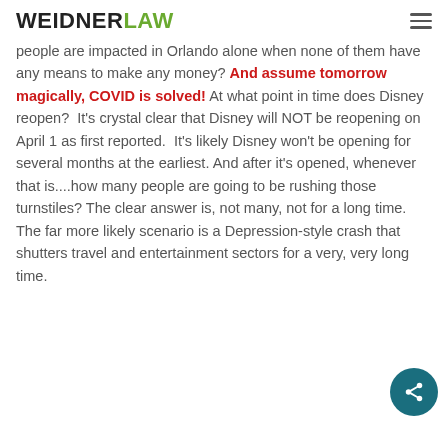WEIDNER LAW
people are impacted in Orlando alone when none of them have any means to make any money? And assume tomorrow magically, COVID is solved! At what point in time does Disney reopen?  It's crystal clear that Disney will NOT be reopening on April 1 as first reported.  It's likely Disney won't be opening for several months at the earliest. And after it's opened, whenever that is....how many people are going to be rushing those turnstiles? The clear answer is, not many, not for a long time. The far more likely scenario is a Depression-style crash that shutters travel and entertainment sectors for a very, very long time.